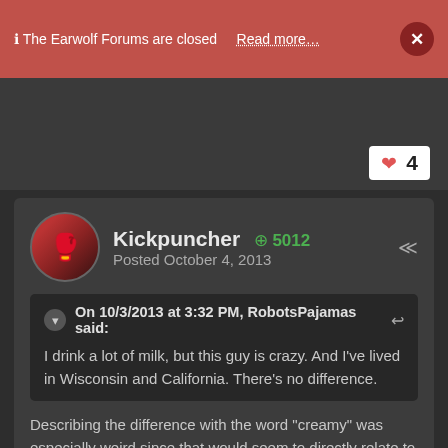ℹ The Earwolf Forums are closed   Read more…   ×
On 10/3/2013 at 3:32 PM, RobotsPajamas said: I drink a lot of milk, but this guy is crazy. And I've lived in Wisconsin and California. There's no difference.
Describing the difference with the word "creamy" was especially weird since that would seem to directly relate to fat content.
Anyway, FANTASTIC episode. Great performances as usual from Matt, Tim, and Betsy, and the new kids were good too.